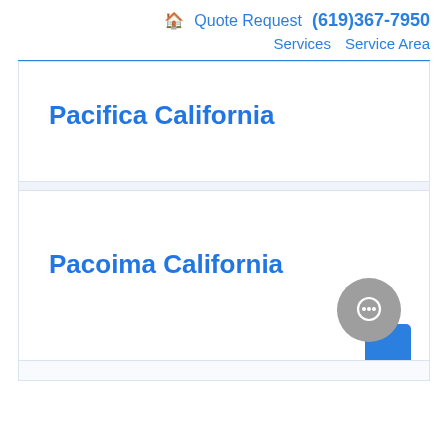🏠 Quote Request (619)367-7950 Services Service Area
Pacifica California
Pacoima California